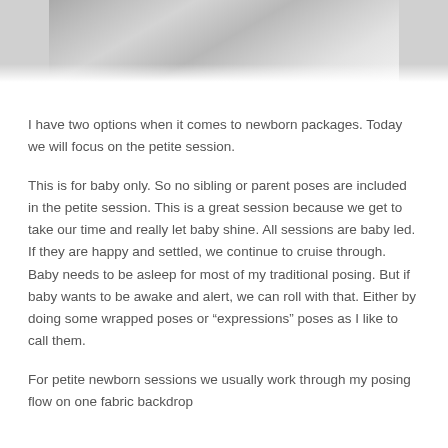[Figure (photo): Black and white close-up photo of a newborn baby, partially visible at the top of the page, cropped at the bottom]
I have two options when it comes to newborn packages. Today we will focus on the petite session.
This is for baby only. So no sibling or parent poses are included in the petite session. This is a great session because we get to take our time and really let baby shine. All sessions are baby led. If they are happy and settled, we continue to cruise through. Baby needs to be asleep for most of my traditional posing. But if baby wants to be awake and alert, we can roll with that. Either by doing some wrapped poses or “expressions” poses as I like to call them.
For petite newborn sessions we usually work through my posing flow on one fabric backdrop